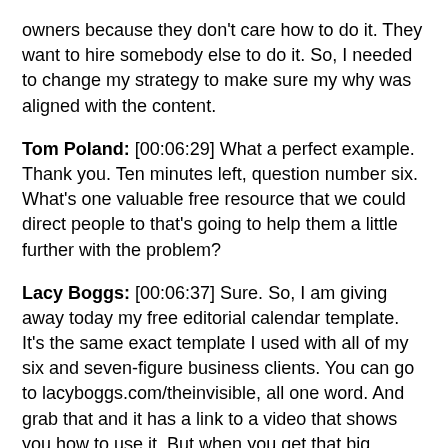owners because they don't care how to do it. They want to hire somebody else to do it. So, I needed to change my strategy to make sure my why was aligned with the content.
Tom Poland: [00:06:29] What a perfect example. Thank you. Ten minutes left, question number six. What's one valuable free resource that we could direct people to that's going to help them a little further with the problem?
Lacy Boggs: [00:06:37] Sure. So, I am giving away today my free editorial calendar template. It's the same exact template I used with all of my six and seven-figure business clients. You can go to lacyboggs.com/theinvisible, all one word. And grab that and it has a link to a video that shows you how to use it. But when you get that big picture and you can see everything at once with this editorial calendar, you'll be able to plan out your content a little more strategically